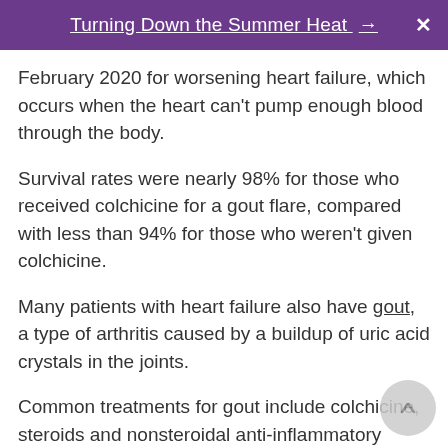Turning Down the Summer Heat →
February 2020 for worsening heart failure, which occurs when the heart can't pump enough blood through the body.
Survival rates were nearly 98% for those who received colchicine for a gout flare, compared with less than 94% for those who weren't given colchicine.
Many patients with heart failure also have gout, a type of arthritis caused by a buildup of uric acid crystals in the joints.
Common treatments for gout include colchicine, steroids and nonsteroidal anti-inflammatory drugs (NSAIDs), such as aspirin and ibuprofen. However, steroids and NSAIDs are not typically given to heart failure patients because they could worsen heart